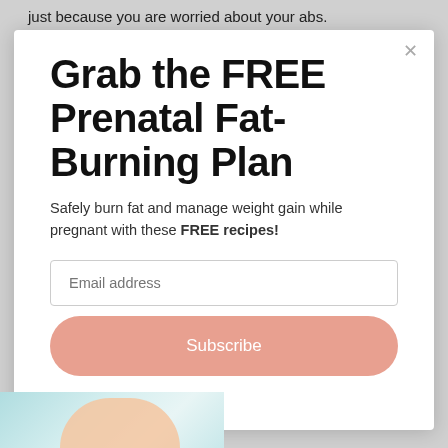just because you are worried about your abs.
Grab the FREE Prenatal Fat-Burning Plan
Safely burn fat and manage weight gain while pregnant with these FREE recipes!
Email address
Subscribe